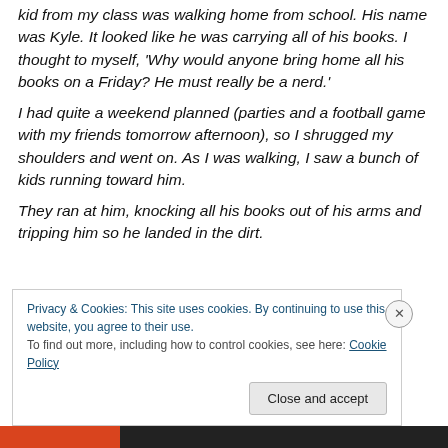kid from my class was walking home from school. His name was Kyle. It looked like he was carrying all of his books. I thought to myself, 'Why would anyone bring home all his books on a Friday? He must really be a nerd.'
I had quite a weekend planned (parties and a football game with my friends tomorrow afternoon), so I shrugged my shoulders and went on. As I was walking, I saw a bunch of kids running toward him.
They ran at him, knocking all his books out of his arms and tripping him so he landed in the dirt.
Privacy & Cookies: This site uses cookies. By continuing to use this website, you agree to their use.
To find out more, including how to control cookies, see here: Cookie Policy